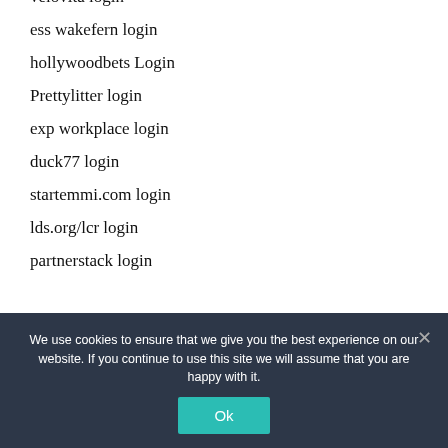velovita login
ess wakefern login
hollywoodbets Login
Prettylitter login
exp workplace login
duck77 login
startemmi.com login
lds.org/lcr login
partnerstack login
We use cookies to ensure that we give you the best experience on our website. If you continue to use this site we will assume that you are happy with it.
Ok